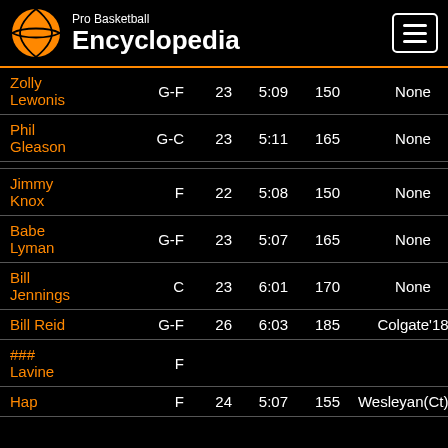Pro Basketball Encyclopedia
| Name | Pos | Age | Ht | Wt | College |
| --- | --- | --- | --- | --- | --- |
| Zolly Lewonis | G-F | 23 | 5:09 | 150 | None |
| Phil Gleason | G-C | 23 | 5:11 | 165 | None |
| Jimmy Knox | F | 22 | 5:08 | 150 | None |
| Babe Lyman | G-F | 23 | 5:07 | 165 | None |
| Bill Jennings | C | 23 | 6:01 | 170 | None |
| Bill Reid | G-F | 26 | 6:03 | 185 | Colgate'18 |
| ### Lavine | F |  |  |  |  |
| Hap | F | 24 | 5:07 | 155 | Wesleyan(Ct)'20 |